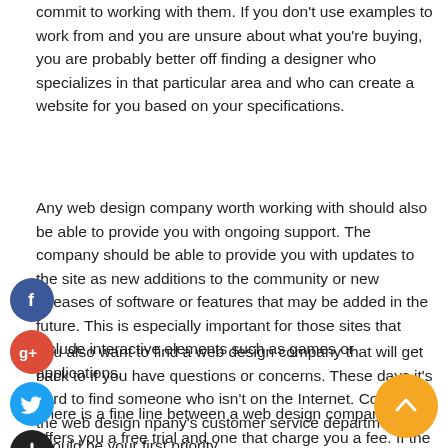commit to working with them. If you don't use examples to work from and you are unsure about what you're buying, you are probably better off finding a designer who specializes in that particular area and who can create a website for you based on your specifications.
Any web design company worth working with should also be able to provide you with ongoing support. The company should be able to provide you with updates to the site as new additions to the community or new releases of software or features that may be added in the future. This is especially important for those sites that include interactive elements such as games or applications.
You also want to find a web design company that will get back to if you have questions or concerns. These days it's hard to find someone who isn't on the Internet. Contacting the web design npany's customer service department should be your first priority.
There is a fine line between a web design company that offers you a free trial and one that charge you a fee. If the company does not require a payment in order to get started, you should be able to find